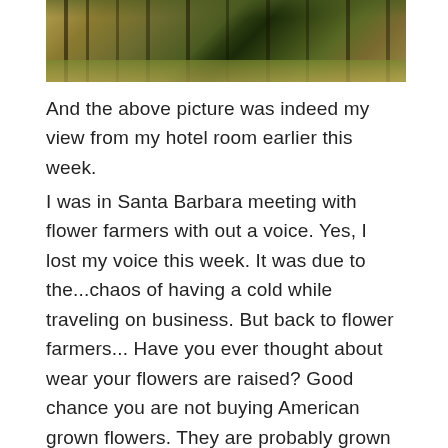[Figure (photo): A photograph showing a view from a hotel room window, featuring palm trees and tropical vegetation with a yellowish-green tint, likely in Santa Barbara.]
And the above picture was indeed my view from my hotel room earlier this week.
I was in Santa Barbara meeting with flower farmers with out a voice. Yes, I lost my voice this week. It was due to the...chaos of having a cold while traveling on business. But back to flower farmers... Have you ever thought about wear your flowers are raised? Good chance you are not buying American grown flowers. They are probably grown in South America and flown in on 747 into Miami and make a long haul before they ever reach your grocery store or dining room table. But there are farmers in California raising flowers still trying to compete against the overseas farmers, and we need to help